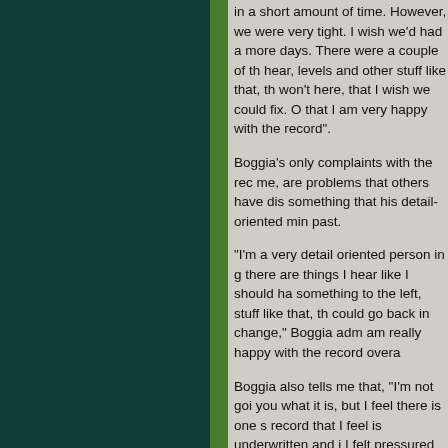in a short amount of time. However, we were very tight. I wish we'd had a more days. There were a couple of things I hear, levels and other stuff like that, that I won't here, that I wish we could fix. Overall that I am very happy with the record".
Boggia's only complaints with the record, to me, are problems that others have dismissed, something that his detail-oriented mind can't get past.
"I'm a very detail oriented person in general, there are things I hear like I should have panned something to the left, stuff like that, that I wish I could go back in change," Boggia admits. "But I am really happy with the record overall."
Boggia also tells me that, "I'm not going to tell you what it is, but I feel there is one song on the record that I feel is underwritten and it's because I felt pressured to finish by the label. But I've learned from it. What can you do? I still love the record."
And like the record he does. Boggia is animated when he talks about it, telling me about some of his favorite aspects of the record.
"I have favorite songs, but from a songwriting point of view I like 'Underground' because